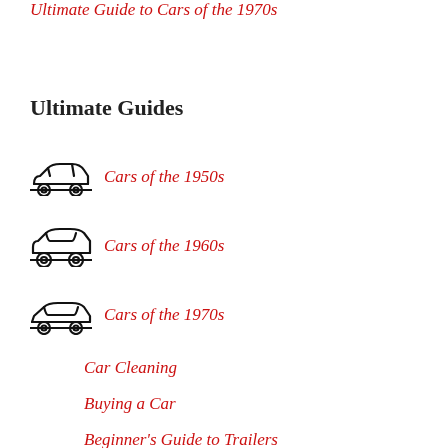Ultimate Guide to Cars of the 1970s
Ultimate Guides
Cars of the 1950s
Cars of the 1960s
Cars of the 1970s
Car Cleaning
Buying a Car
Beginner's Guide to Trailers